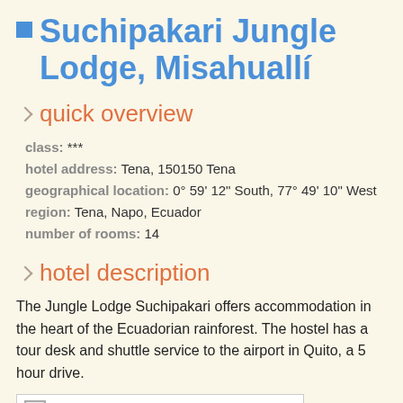Suchipakari Jungle Lodge, Misahuallí
quick overview
class: ***
hotel address: Tena, 150150 Tena
geographical location: 0° 59' 12" South, 77° 49' 10" West
region: Tena, Napo, Ecuador
number of rooms: 14
hotel description
The Jungle Lodge Suchipakari offers accommodation in the heart of the Ecuadorian rainforest. The hostel has a tour desk and shuttle service to the airport in Quito, a 5 hour drive.
[Figure (photo): Suchipakari Jungle Lodge, Misahuallí Photo]
more photos »